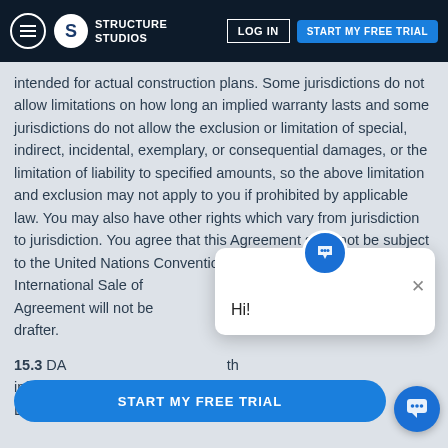Structure Studios — LOG IN | START MY FREE TRIAL
intended for actual construction plans. Some jurisdictions do not allow limitations on how long an implied warranty lasts and some jurisdictions do not allow the exclusion or limitation of special, indirect, incidental, exemplary, or consequential damages, or the limitation of liability to specified amounts, so the above limitation and exclusion may not apply to you if prohibited by applicable law. You may also have other rights which vary from jurisdiction to jurisdiction. You agree that this Agreement shall not be subject to the United Nations Convention on Contracts for the International Sale of [obscured] Agreement will not be [obscured] drafter.
15.3 DA[obscured] th[obscured] inform[obscured] he Licensed Materials (including your access and use).
[Figure (screenshot): Chat popup widget with Structure Studios logo icon, close button (×), and greeting text 'Hi!']
[Figure (screenshot): Blue 'START MY FREE TRIAL' CTA button bar at bottom of page]
[Figure (screenshot): Blue circular chat support button at bottom right]